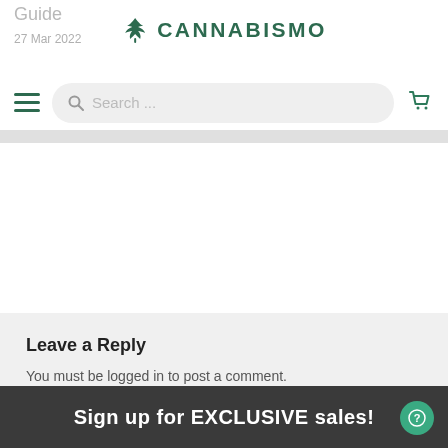Guide
27 Mar 2022
[Figure (logo): Cannabismo logo with cannabis leaf icon and text CANNABISMO in dark green]
[Figure (screenshot): Navigation bar with hamburger menu, search bar with placeholder 'Search ...' and shopping cart icon]
Leave a Reply
You must be logged in to post a comment.
Sign up for EXCLUSIVE sales!